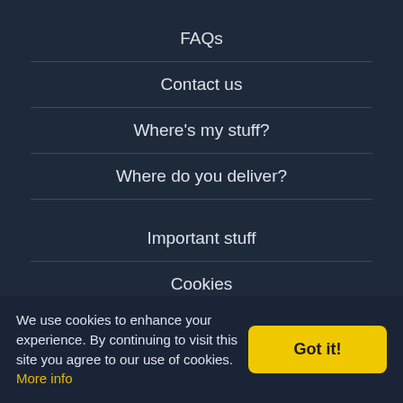FAQs
Contact us
Where's my stuff?
Where do you deliver?
Important stuff
Cookies
Privacy policy
Price matching policy
We use cookies to enhance your experience. By continuing to visit this site you agree to our use of cookies. More info